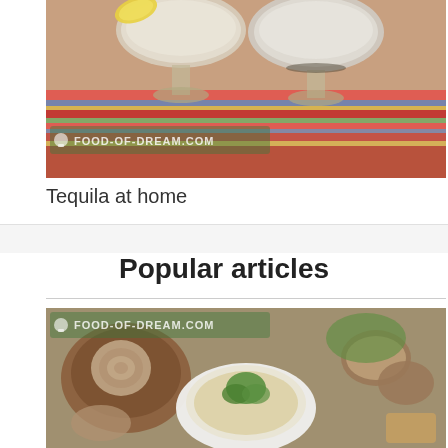[Figure (photo): Top view of two margarita-style glasses with frothy drinks on a colorful striped tablecloth, one garnished with a lemon slice. FOOD-OF-DREAM.COM watermark visible.]
Tequila at home
Popular articles
[Figure (photo): Mushroom cream soup in a white bowl garnished with parsley, surrounded by whole and sliced mushrooms and bread. FOOD-OF-DREAM.COM watermark visible.]